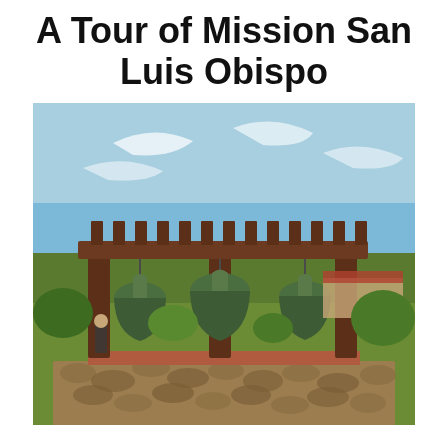A Tour of Mission San Luis Obispo
[Figure (photo): Outdoor photograph of a wooden pergola structure with three large bronze/green bells hanging from it, set on a stone base. Blue sky with wispy clouds in background, green trees and shrubs visible, red-tile roofed mission building visible in the distance. A person stands near the left side.]